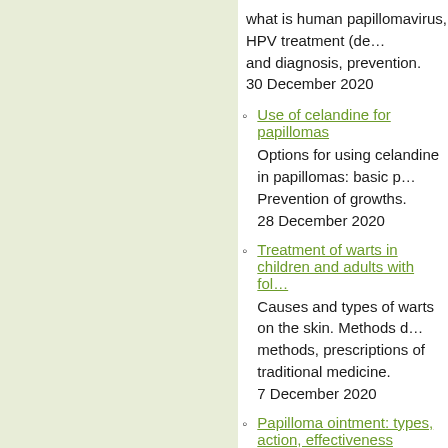what is human papillomavirus, HPV treatment (de... and diagnosis, prevention.
30 December 2020
Use of celandine for papillomas
Options for using celandine in papillomas: basic p... Prevention of growths.
28 December 2020
Treatment of warts in children and adults with fol...
Causes and types of warts on the skin. Methods d... methods, prescriptions of traditional medicine.
7 December 2020
Papilloma ointment: types, action, effectiveness
Effective ointments for papillomas: types of drug... recipes. Useful tips for skin care after injury remo...
4 December 2020